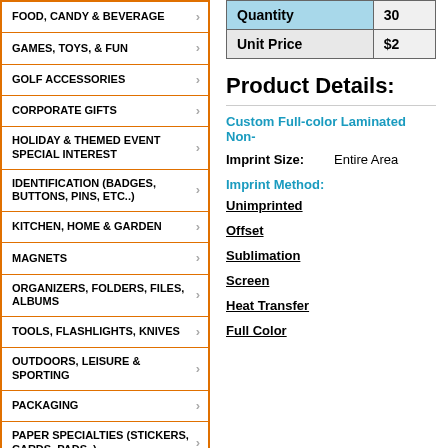FOOD, CANDY & BEVERAGE
GAMES, TOYS, & FUN
GOLF ACCESSORIES
CORPORATE GIFTS
HOLIDAY & THEMED EVENT SPECIAL INTEREST
IDENTIFICATION (BADGES, BUTTONS, PINS, ETC..)
KITCHEN, HOME & GARDEN
MAGNETS
ORGANIZERS, FOLDERS, FILES, ALBUMS
TOOLS, FLASHLIGHTS, KNIVES
OUTDOORS, LEISURE & SPORTING
PACKAGING
PAPER SPECIALTIES (STICKERS, CARDS, PADS..)
POCKET, PURSE & WALLET ESSENTIALS
| Quantity | 30 |
| --- | --- |
| Unit Price | $2 |
Product Details:
Custom Full-color Laminated Non-
Imprint Size:   Entire Area
Imprint Method:
Unimprinted
Offset
Sublimation
Screen
Heat Transfer
Full Color